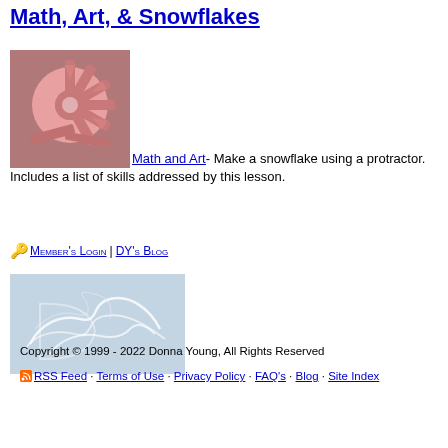Math, Art, & Snowflakes
Math and Art- Make a snowflake using a protractor. Includes a list of skills addressed by this lesson.
[Figure (photo): Pink paper snowflake craft made using a protractor, photographed against dark background]
🔑 Member's Login | DY's Blog
[Figure (illustration): Donna Young signature/logo illustration in light blue background with cursive white line art]
Copyright © 1999 - 2022 Donna Young, All Rights Reserved
RSS Feed · Terms of Use · Privacy Policy · FAQ's · Blog · Site Index